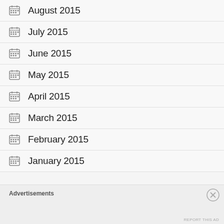August 2015
July 2015
June 2015
May 2015
April 2015
March 2015
February 2015
January 2015
Advertisements